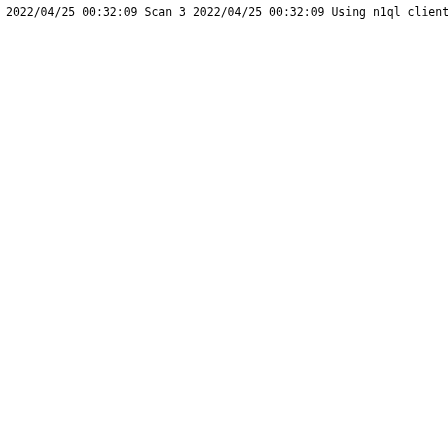2022/04/25 00:32:09 Scan 3
2022/04/25 00:32:09 Using n1ql client
2022/04/25 00:32:09 Expected and Actual scan responses ar
2022/04/25 00:32:09 Scan 4
2022/04/25 00:32:09 Using n1ql client
2022/04/25 00:32:09 Expected and Actual scan responses ar
2022/04/25 00:32:09 Scan 5
2022/04/25 00:32:09 Using n1ql client
2022/04/25 00:32:09 Expected and Actual scan responses ar
2022/04/25 00:32:09 Scan 6
2022/04/25 00:32:09 Using n1ql client
2022/04/25 00:32:09 Expected and Actual scan responses ar
--- PASS: TestLookupFloatDiffForms (4.96s)
=== RUN   TestRangeFloatInclVariations
2022/04/25 00:32:09 In TestRangeFloatInclVariations()
2022/04/25 00:32:09 Index found:  index_latitude
2022/04/25 00:32:09 Scan 1
2022/04/25 00:32:09 Using n1ql client
2022/04/25 00:32:09 Expected and Actual scan responses ar
2022/04/25 00:32:09 Scan 2
2022/04/25 00:32:09 Using n1ql client
2022/04/25 00:32:09 Expected and Actual scan responses ar
2022/04/25 00:32:09 Scan 3
2022/04/25 00:32:09 Using n1ql client
2022/04/25 00:32:09 Expected and Actual scan responses ar
2022/04/25 00:32:09 Scan 4
2022/04/25 00:32:09 Using n1ql client
2022/04/25 00:32:09 Expected and Actual scan responses ar
2022/04/25 00:32:09 Scan 5
2022/04/25 00:32:09 Using n1ql client
2022/04/25 00:32:09 Expected and Actual scan responses ar